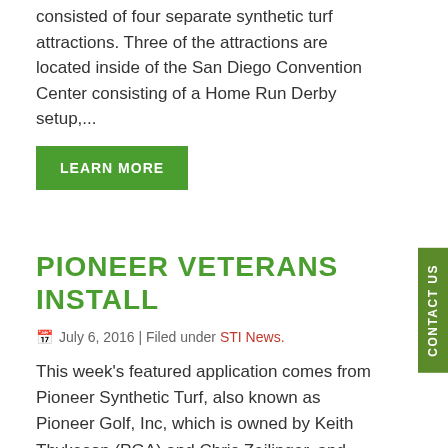consisted of four separate synthetic turf attractions.  Three of the attractions are located inside of the San Diego Convention Center consisting of a Home Run Derby setup,...
LEARN MORE
PIONEER VETERANS INSTALL
July 6, 2016 | Filed under STI News.
This week's featured application comes from Pioneer Synthetic Turf, also known as Pioneer Golf, Inc, which is owned by Keith Thykeson (PGA) and Chris Zeilinger, and specializes in synthetic turf applications. Pioneer Synthetic Turf installed a putting green prior to Memorial Day for a military veteran.  The area was natural grass, and the client just...